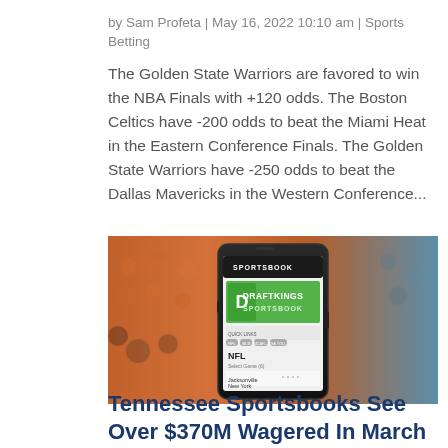by Sam Profeta | May 16, 2022 10:10 am | Sports Betting
The Golden State Warriors are favored to win the NBA Finals with +120 odds. The Boston Celtics have -200 odds to beat the Miami Heat in the Eastern Conference Finals. The Golden State Warriors have -250 odds to beat the Dallas Mavericks in the Western Conference...
[Figure (photo): A smartphone displaying the DraftKings Sportsbook app, shown against a blurred stadium crowd background with orange and white colors.]
Tennessee Sportsbooks See Over $370M Wagered In March 2022